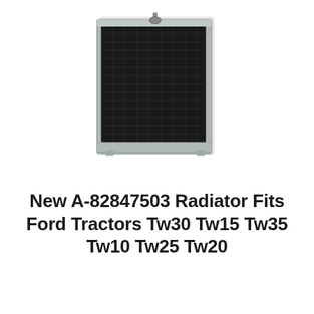[Figure (photo): Photograph of a tractor radiator (part A-82847503). The radiator has a dark mesh core, silver/aluminum frame, and a small vertical rod or cap fitting at the top center.]
New A-82847503 Radiator Fits Ford Tractors Tw30 Tw15 Tw35 Tw10 Tw25 Tw20